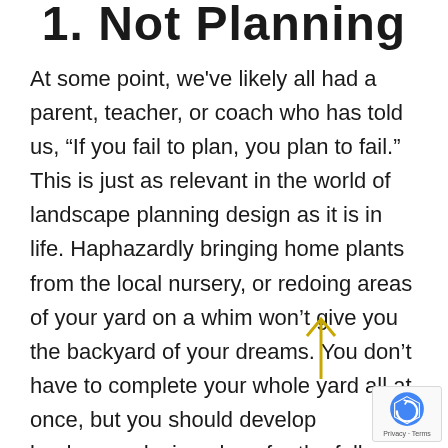1. Not Planning
At some point, we've likely all had a parent, teacher, or coach who has told us, “If you fail to plan, you plan to fail.” This is just as relevant in the world of landscape planning design as it is in life. Haphazardly bringing home plants from the local nursery, or redoing areas of your yard on a whim won’t give you the backyard of your dreams. You don’t have to complete your whole yard all at once, but you should develop landscape design plans for the full space. Take into account seasons, water needs, space usage needs, and plant growth rates as you think through how you want your yard to look.
[Figure (other): reCAPTCHA badge with logo and Privacy - Terms text]